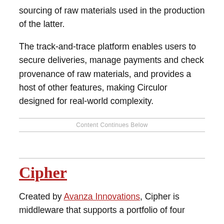sourcing of raw materials used in the production of the latter.
The track-and-trace platform enables users to secure deliveries, manage payments and check provenance of raw materials, and provides a host of other features, making Circulor designed for real-world complexity.
Content Continues Below
Cipher
Created by Avanza Innovations, Cipher is middleware that supports a portfolio of four